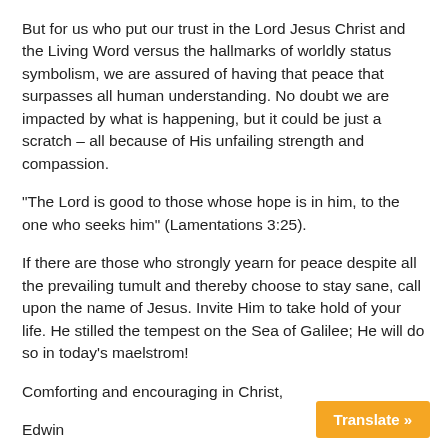But for us who put our trust in the Lord Jesus Christ and the Living Word versus the hallmarks of worldly status symbolism, we are assured of having that peace that surpasses all human understanding. No doubt we are impacted by what is happening, but it could be just a scratch – all because of His unfailing strength and compassion.
“The Lord is good to those whose hope is in him, to the one who seeks him” (Lamentations 3:25).
If there are those who strongly yearn for peace despite all the prevailing tumult and thereby choose to stay sane, call upon the name of Jesus. Invite Him to take hold of your life. He stilled the tempest on the Sea of Galilee; He will do so in today’s maelstrom!
Comforting and encouraging in Christ,
Edwin
Translate »